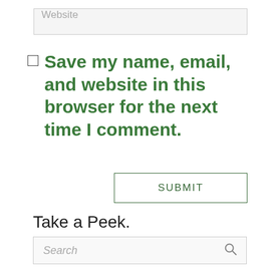Website
Save my name, email, and website in this browser for the next time I comment.
SUBMIT
Take a Peek.
Search